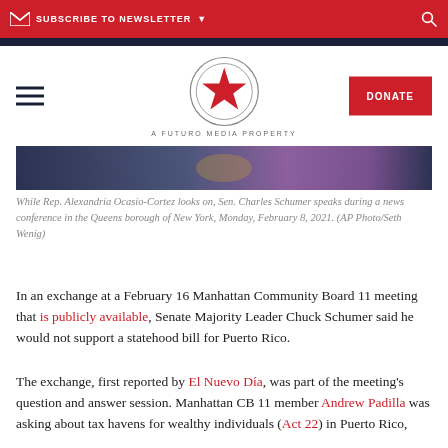SUBSCRIBE TO NEWSLETTER
[Figure (logo): Latino Rebels / A Futuro Media Property logo with circular star emblem]
[Figure (photo): Partial photo showing Rep. Alexandria Ocasio-Cortez and Sen. Charles Schumer at a news conference, Queens borough of New York, February 8, 2021]
While Rep. Alexandria Ocasio-Cortez looks on, Sen. Charles Schumer speaks during a news conference in the Queens borough of New York, Monday, February 8, 2021. (AP Photo/Seth Wenig)
In an exchange at a February 16 Manhattan Community Board 11 meeting that is publicly available, Senate Majority Leader Chuck Schumer said he would not support a statehood bill for Puerto Rico.
The exchange, first reported by El Nuevo Día, was part of the meeting's question and answer session. Manhattan CB 11 member Andrew Padilla was asking about tax havens for wealthy individuals (Act 22) in Puerto Rico,